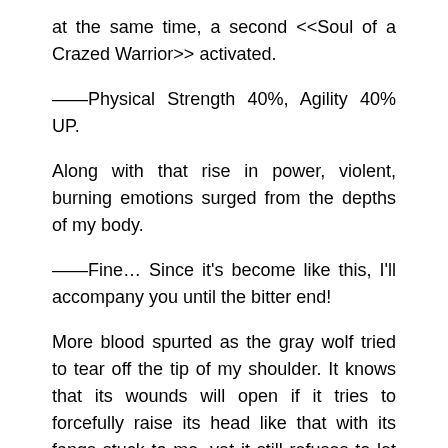at the same time, a second <<Soul of a Crazed Warrior>> activated.
——Physical Strength 40%, Agility 40% UP.
Along with that rise in power, violent, burning emotions surged from the depths of my body.
——Fine… Since it's become like this, I'll accompany you until the bitter end!
More blood spurted as the gray wolf tried to tear off the tip of my shoulder. It knows that its wounds will open if it tries to forcefully raise its head like that with its fangs stuck to me, yet it still refuses to let go.
As that pain that felt like I was being torn to pieces, insanity took me. And I raised my sword while being